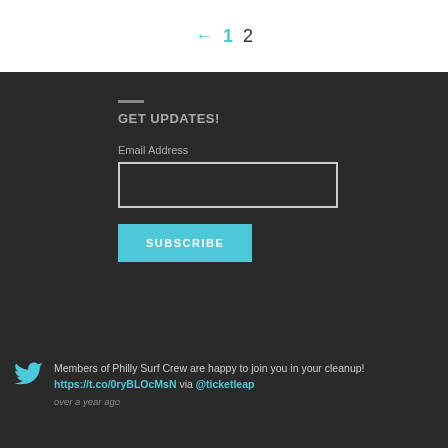← 1 2
GET UPDATES!
Email Address
SUBSCRIBE
Members of Philly Surf Crew are happy to join you in your cleanup! https://t.co/0ryBLOcMsN via @ticketleap over a year ago